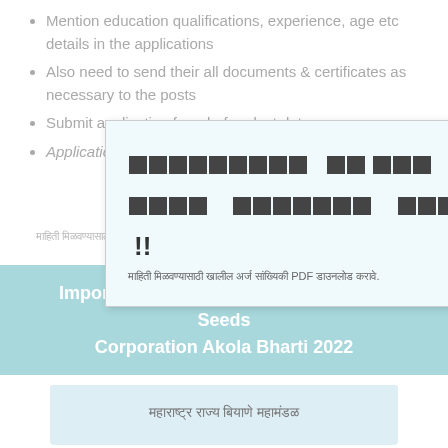Mention education qualifications, experience, age etc details in the applications
Also need to send their all documents & certificates as necessary to the posts
Submit application from before last date
Application form filling method / instructions (Marathi text - modal overlay)
(Marathi text visible in background - faded)
[Figure (screenshot): Modal popup with CLOSE button (teal) showing Marathi text content overlay on the page]
Important Links For Maharashtra State Seeds Corporation Akola Bharti 2022
(Marathi link button - light blue card)
(Marathi link button - light blue card bottom)